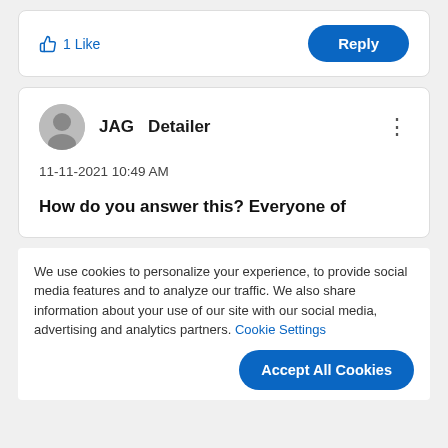[Figure (screenshot): Social media comment card with thumbs up '1 Like' in blue and a blue 'Reply' button]
1 Like
Reply
JAG  Detailer
11-11-2021 10:49 AM
How do you answer this? Everyone of
We use cookies to personalize your experience, to provide social media features and to analyze our traffic. We also share information about your use of our site with our social media, advertising and analytics partners. Cookie Settings
Accept All Cookies